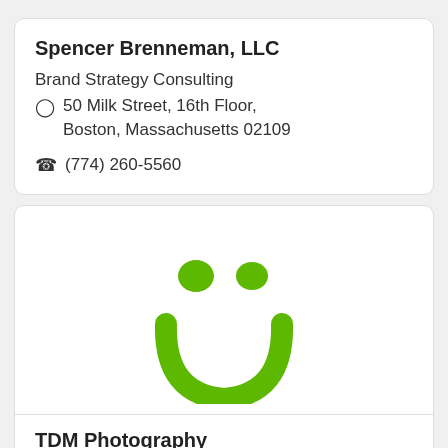Spencer Brenneman, LLC
Brand Strategy Consulting
50 Milk Street, 16th Floor, Boston, Massachusetts 02109
(774) 260-5560
[Figure (logo): Green smiley face logo with two round dots as eyes and a thick rounded open-bottom U shape as a mouth, forming a stylized happy face in bright green.]
TDM Photography